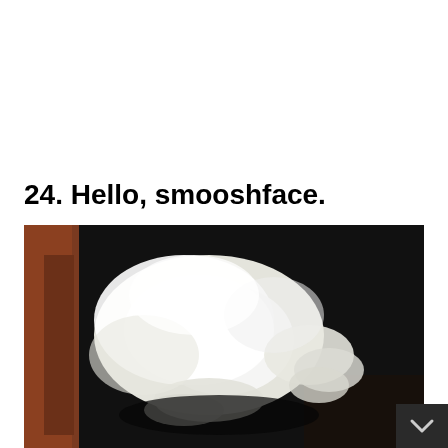24. Hello, smooshface.
[Figure (photo): A white fluffy cat or dog lying inside a dark box or bag, showing its back and paws, with a reddish-brown surface visible on the left side.]